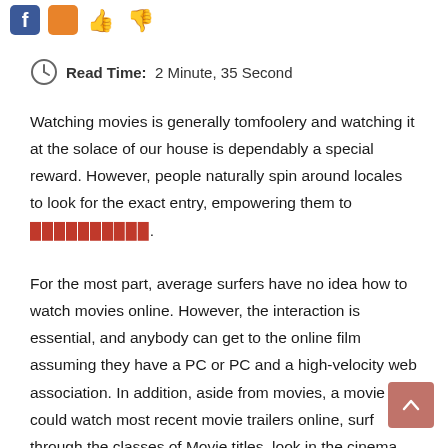[Figure (illustration): Social media icons (Facebook, thumbs up/down icons) partially visible at top of page]
Read Time:  2 Minute, 35 Second
Watching movies is generally tomfoolery and watching it at the solace of our house is dependably a special reward. However, people naturally spin around locales to look for the exact entry, empowering them to [link text].
For the most part, average surfers have no idea how to watch movies online. However, the interaction is essential, and anybody can get to the online film assuming they have a PC or PC and a high-velocity web association. In addition, aside from movies, a movie buff could watch most recent movie trailers online, surf through the classes of Movie titles, look in the cinema world blockbusters, show timings of adjacent theaters, and an online data set or storage facility of movie assortment. It's a Pandora's Box out there with online movie entryways;